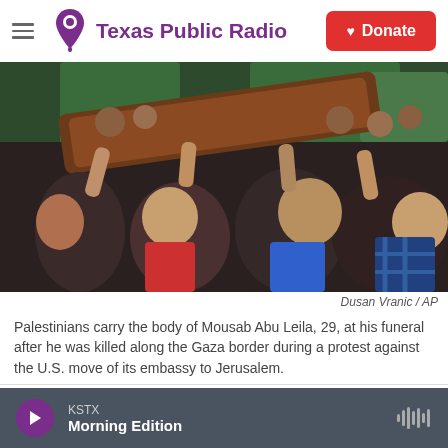Texas Public Radio | Donate
[Figure (photo): A crowd of people carrying a wooden casket with green Hamas flags visible in the background at a funeral.]
Dusan Vranic / AP
Palestinians carry the body of Mousab Abu Leila, 29, at his funeral after he was killed along the Gaza border during a protest against the U.S. move of its embassy to Jerusalem.
Updated at 3 p.m. ET
KSTX Morning Edition